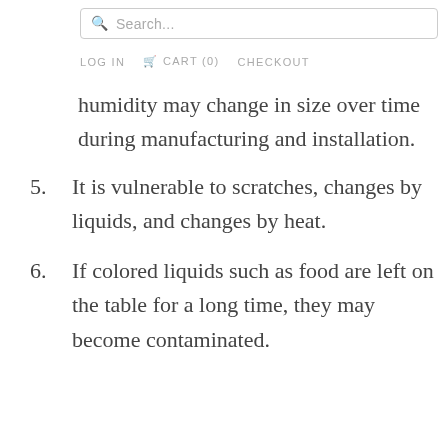Search...
LOG IN   CART (0)   CHECKOUT
humidity may change in size over time during manufacturing and installation.
5. It is vulnerable to scratches, changes by liquids, and changes by heat.
6. If colored liquids such as food are left on the table for a long time, they may become contaminated.